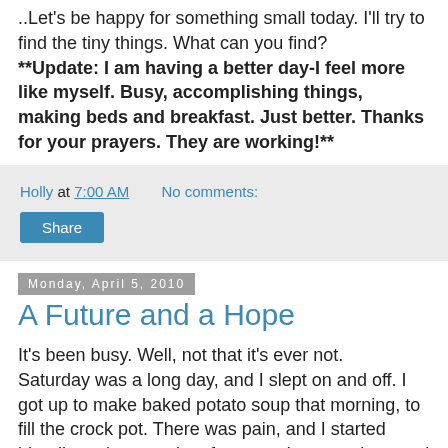..Let's be happy for something small today.  I'll try to find the tiny things.  What can you find?
**Update:  I am having a better day-I feel more like myself.  Busy, accomplishing things, making beds and breakfast.  Just better.  Thanks for your prayers.  They are working!**
Holly at 7:00 AM    No comments:
Share
Monday, April 5, 2010
A Future and a Hope
It's been busy.  Well, not that it's ever not.
Saturday was a long day, and I slept on and off.  I got up to make baked potato soup that morning, to fill the crock pot.  There was pain, and I started bleeding a lot more by afternoon.  I stressed out and went to bed.  I got up around 3:30, as Easter doesn't wait on me to feel better, and we started our little rituals.  I boiled a couple dozen eggs-maybe 28? and then we cooled them, made the dye and laid out